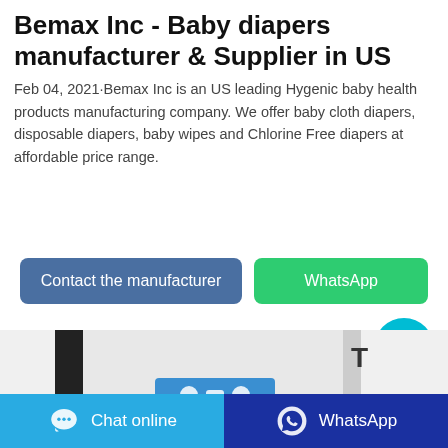Bemax Inc - Baby diapers manufacturer & Supplier in US
Feb 04, 2021·Bemax Inc is an US leading Hygenic baby health products manufacturing company. We offer baby cloth diapers, disposable diapers, baby wipes and Chlorine Free diapers at affordable price range.
[Figure (screenshot): Two buttons: 'Contact the manufacturer' (blue-gray) and 'WhatsApp' (green)]
[Figure (photo): Partial product image showing packaging with blue card element]
Chat online | WhatsApp